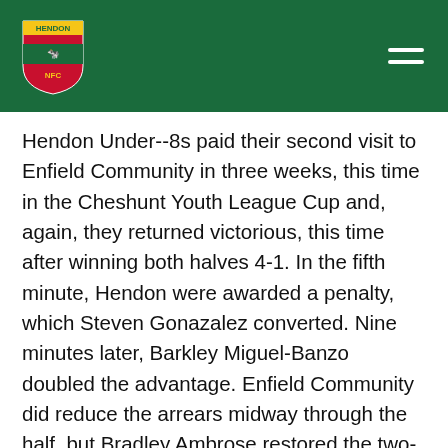Hendon NFC
Hendon Under--8s paid their second visit to Enfield Community in three weeks, this time in the Cheshunt Youth League Cup and, again, they returned victorious, this time after winning both halves 4-1. In the fifth minute, Hendon were awarded a penalty, which Steven Gonazalez converted. Nine minutes later, Barkley Miguel-Banzo doubled the advantage. Enfield Community did reduce the arrears midway through the half, but Bradley Ambrose restored the two-goal lead after 33 minutes and Jay Oloko made it 4-1, four minutes before the interval. Just before the hour mark, Miguel-Banzo scored his second, but Hendon soon conceded a second goal. Any nerves were quickly soothed when Sholto Nene scored with a header. With 13 minutes remaining, Ambrose scored the goal of the game with a delicious lob from a very tight angle. Then,